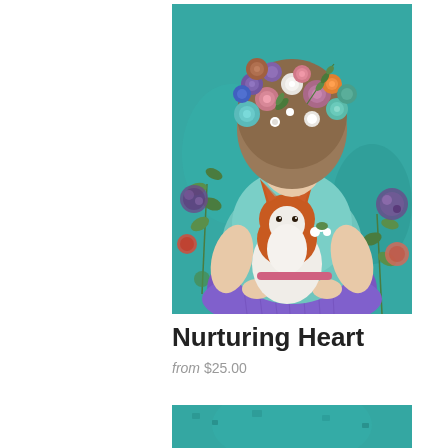[Figure (illustration): A colorful folk-art style painting of a serene woman with closed eyes, wearing a teal/mint top, with an elaborate floral crown of mixed flowers in pink, purple, orange, white and teal colors. She holds a red/white fox against her chest with both arms. The background is teal/turquoise. Decorative botanical elements (leaves, branches) and colorful circular motifs surround her. She wears a purple skirt/wrap.]
Nurturing Heart
from $25.00
[Figure (illustration): Bottom portion of another artwork showing a teal/turquoise background, partial view of a painting.]